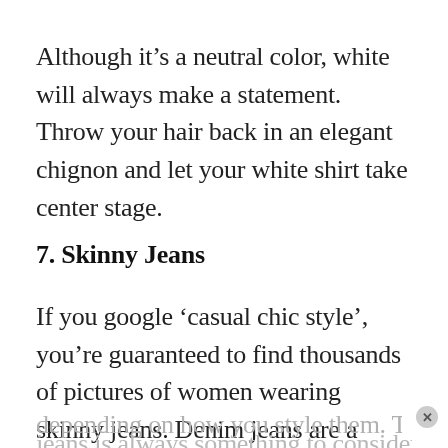Although it’s a neutral color, white will always make a statement. Throw your hair back in an elegant chignon and let your white shirt take center stage.
7. Skinny Jeans
If you google ‘casual chic style’, you’re guaranteed to find thousands of pictures of women wearing skinny jeans. Denim jeans are a unique piece that can jump between casual and semi-formal depending on how you style them. The cut of your jeans is always something to consider, with skinny...